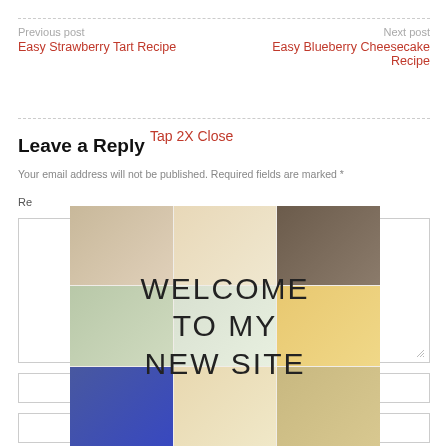Previous post
Easy Strawberry Tart Recipe
Next post
Easy Blueberry Cheesecake Recipe
Tap 2X Close
Leave a Reply
Your email address will not be published. Required fields are marked *
Re
[Figure (photo): Food collage image showing multiple dishes with text overlay reading WELCOME TO MY NEW SITE]
WELCOME TO MY NEW SITE